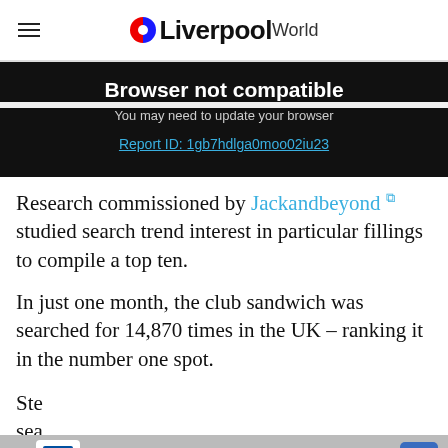Liverpool World
Browser not compatible
You may need to update your browser
Report ID: 1gb7hdlga0moo02iu23
Research commissioned by Jackandbeyond studied search trend interest in particular fillings to compile a top ten.
In just one month, the club sandwich was searched for 14,870 times in the UK – ranking it in the number one spot.
Ste... sea...
[Figure (other): Lidl advertisement banner: Lidl: More Food for Less Money]